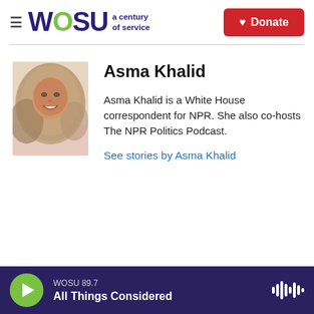WOSU a century of service | Donate
[Figure (photo): Headshot photo of Asma Khalid wearing a hijab and smiling]
Asma Khalid
Asma Khalid is a White House correspondent for NPR. She also co-hosts The NPR Politics Podcast.
See stories by Asma Khalid
WOSU 89.7 All Things Considered